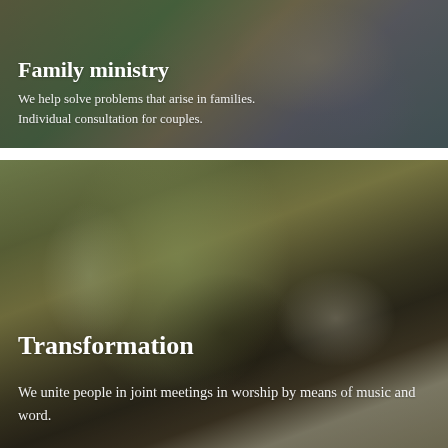[Figure (photo): Couple embracing outdoors in a natural green and earthy-toned setting, with overlaid text about Family ministry]
Family ministry
We help solve problems that arise in families. Individual consultation for couples.
[Figure (photo): Person holding a Holy Bible with green plants (lily-like leaves) in the background, earthy muted tones, with overlaid text about Transformation]
Transformation
We unite people in joint meetings in worship by means of music and word.